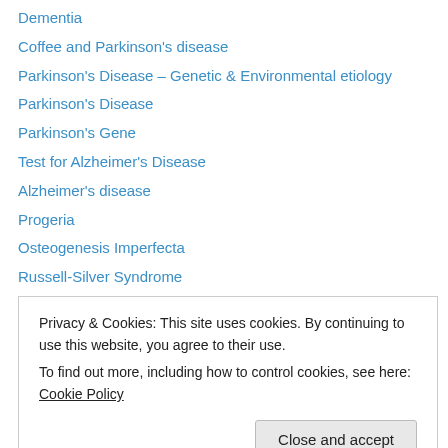Dementia
Coffee and Parkinson's disease
Parkinson's Disease – Genetic & Environmental etiology
Parkinson's Disease
Parkinson's Gene
Test for Alzheimer's Disease
Alzheimer's disease
Progeria
Osteogenesis Imperfecta
Russell-Silver Syndrome
Marfan syndrome
Thalassaemia
Pyridoxine ~ Vitamin B6
Privacy & Cookies: This site uses cookies. By continuing to use this website, you agree to their use.
To find out more, including how to control cookies, see here: Cookie Policy
Down syndrome